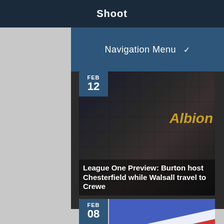Shoot
Navigation Menu ▼
[Figure (screenshot): Article card with dark background showing tiled grid pattern and gold 'Albion' text overlay, dated FEB 12]
League One Preview: Burton host Chesterfield while Walsall travel to Crewe
[Figure (screenshot): Article card with British football badge/flag imagery in red, white and blue, dated FEB 08]
League One Round-Up: Burton move four points clear, Barnsley make it seven straight wins